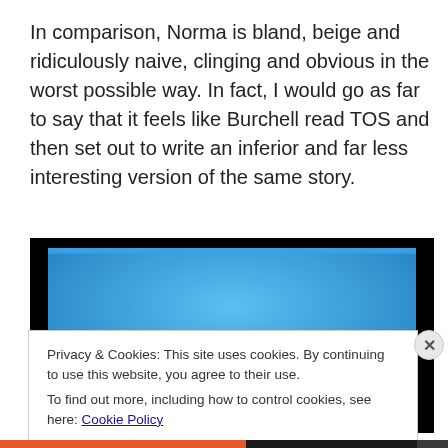In comparison, Norma is bland, beige and ridiculously naive, clinging and obvious in the worst possible way. In fact, I would go as far to say that it feels like Burchell read TOS and then set out to write an inferior and far less interesting version of the same story.
[Figure (photo): An underwater photo showing a sea turtle visible from above, with blue water background, displayed inside a black frame on screen]
Privacy & Cookies: This site uses cookies. By continuing to use this website, you agree to their use.
To find out more, including how to control cookies, see here: Cookie Policy
Close and accept